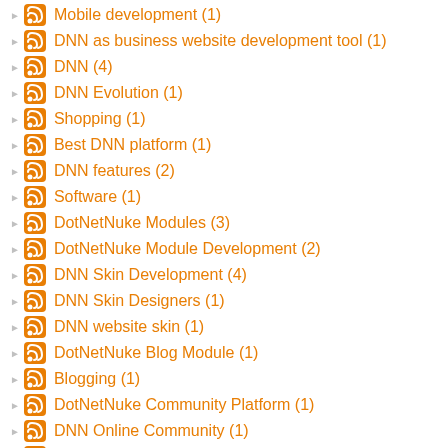Mobile development (1)
DNN as business website development tool (1)
DNN (4)
DNN Evolution (1)
Shopping (1)
Best DNN platform (1)
DNN features (2)
Software (1)
DotNetNuke Modules (3)
DotNetNuke Module Development (2)
DNN Skin Development (4)
DNN Skin Designers (1)
DNN website skin (1)
DotNetNuke Blog Module (1)
Blogging (1)
DotNetNuke Community Platform (1)
DNN Online Community (1)
Cloud ready API (1)
Mobile API (1)
API with DNN (1)